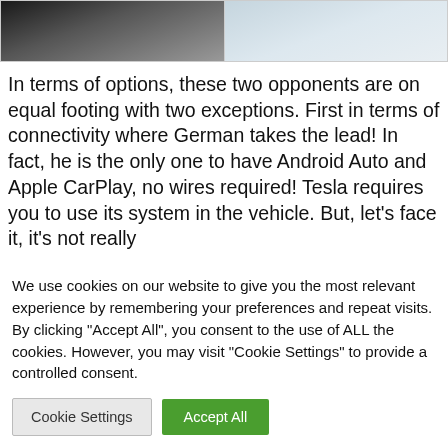[Figure (photo): Two car interior photos side by side — left shows dark leather seat/interior, right shows light grey/silver interior panel]
In terms of options, these two opponents are on equal footing with two exceptions. First in terms of connectivity where German takes the lead! In fact, he is the only one to have Android Auto and Apple CarPlay, no wires required! Tesla requires you to use its system in the vehicle. But, let's face it, it's not really
We use cookies on our website to give you the most relevant experience by remembering your preferences and repeat visits. By clicking “Accept All”, you consent to the use of ALL the cookies. However, you may visit "Cookie Settings" to provide a controlled consent.